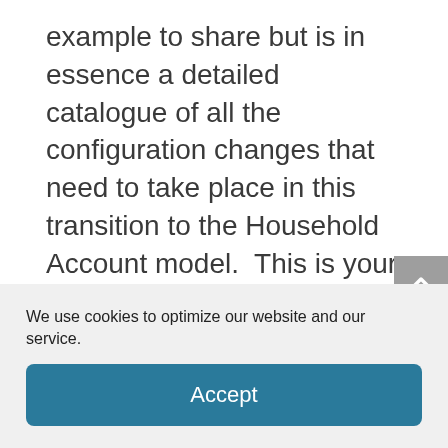example to share but is in essence a detailed catalogue of all the configuration changes that need to take place in this transition to the Household Account model.  This is your roadmap for the changes that will be performed in the Sandbox in the next phase.
Once you know the changes that will be made you can build a “Data Migration
We use cookies to optimize our website and our service.
Accept